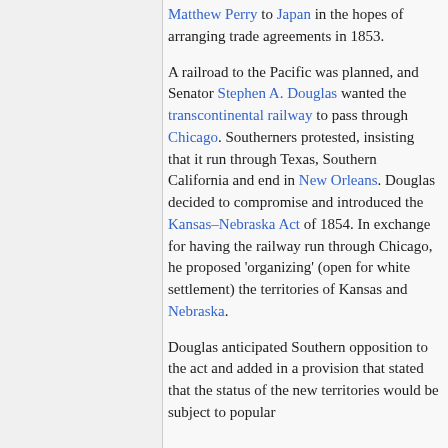Matthew Perry to Japan in the hopes of arranging trade agreements in 1853.
A railroad to the Pacific was planned, and Senator Stephen A. Douglas wanted the transcontinental railway to pass through Chicago. Southerners protested, insisting that it run through Texas, Southern California and end in New Orleans. Douglas decided to compromise and introduced the Kansas–Nebraska Act of 1854. In exchange for having the railway run through Chicago, he proposed 'organizing' (open for white settlement) the territories of Kansas and Nebraska.
Douglas anticipated Southern opposition to the act and added in a provision that stated that the status of the new territories would be subject to popular